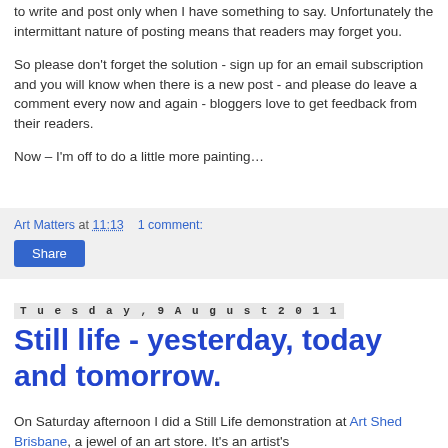to write and post only when I have something to say. Unfortunately the intermittant nature of posting means that readers may forget you.
So please don't forget the solution - sign up for an email subscription and you will know when there is a new post - and please do leave a comment every now and again - bloggers love to get feedback from their readers.
Now – I'm off to do a little more painting…
Art Matters at 11:13    1 comment:
Share
Tuesday, 9 August 2011
Still life - yesterday, today and tomorrow.
On Saturday afternoon I did a Still Life demonstration at Art Shed Brisbane, a jewel of an art store. It's an artist's